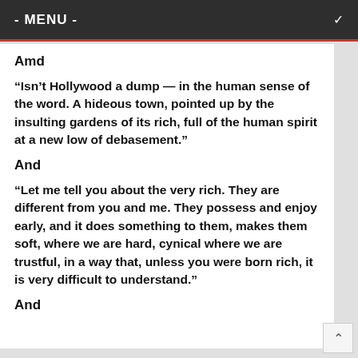- MENU -
Amd
“Isn’t Hollywood a dump — in the human sense of the word. A hideous town, pointed up by the insulting gardens of its rich, full of the human spirit at a new low of debasement.”
And
“Let me tell you about the very rich. They are different from you and me. They possess and enjoy early, and it does something to them, makes them soft, where we are hard, cynical where we are trustful, in a way that, unless you were born rich, it is very difficult to understand.”
And